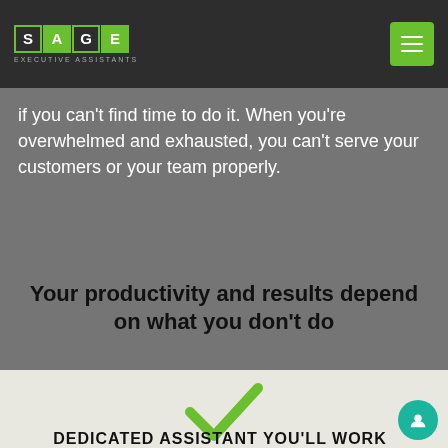SAGE EXECUTIVE ASSISTANTS
if you can't find time to do it. When you're overwhelmed and exhausted, you can't serve your customers or your team properly.
Your productivity and results depend on what you don't do
[Figure (illustration): Green checkmark icon on light beige background]
DEDICATED ASSISTANT YOU'LL WORK